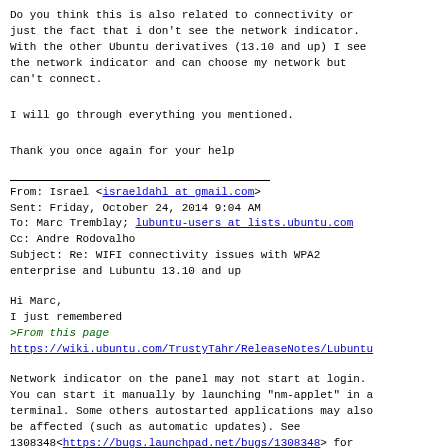Do you think this is also related to connectivity or just the fact that i don't see the network indicator. With the other Ubuntu derivatives (13.10 and up) I see the network indicator and can choose my network but can't connect.
I will go through everything you mentioned.
Thank you once again for your help
From: Israel <israeldahl at gmail.com>
Sent: Friday, October 24, 2014 9:04 AM
To: Marc Tremblay; lubuntu-users at lists.ubuntu.com
Cc: Andre Rodovalho
Subject: Re: WIFI connectivity issues with WPA2 enterprise and Lubuntu 13.10 and up
Hi Marc,
I just remembered
>From this page
https://wiki.ubuntu.com/TrustyTahr/ReleaseNotes/Lubuntu
Network indicator on the panel may not start at login. You can start it manually by launching "nm-applet" in a terminal. Some others autostarted applications may also be affected (such as automatic updates). See 1308348<https://bugs.launchpad.net/bugs/1308348> for